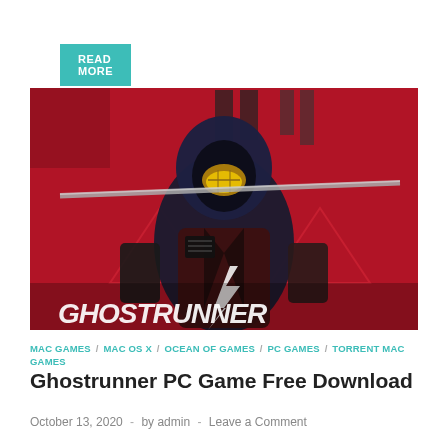READ MORE
[Figure (photo): Ghostrunner PC game cover art showing a cyberpunk hooded warrior with a sword on a red background with 'GHOSTRUNNER' text at the bottom]
MAC GAMES / MAC OS X / OCEAN OF GAMES / PC GAMES / TORRENT MAC GAMES
Ghostrunner PC Game Free Download
October 13, 2020  -  by admin  -  Leave a Comment